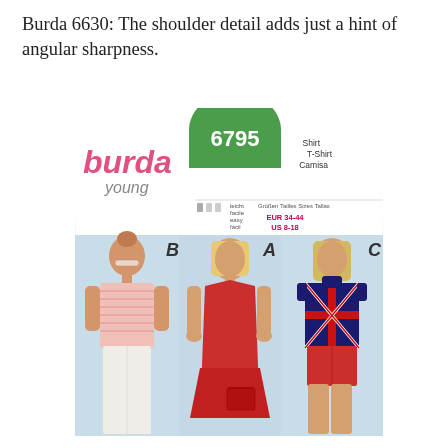Burda 6630: The shoulder detail adds just a hint of angular sharpness.
[Figure (illustration): Burda Young sewing pattern 6630 envelope showing three young women modeling shirt/T-shirt variations: B (striped halter tank with white jeans), A (red halter dress), C (Union Jack print top with red shorts). Pattern number 6795 shown in green semicircle badge. Labels: Shirt, T-Shirt, Camisa. Sizes EUR 34-44 / US 8-18. Difficulty indicators shown.]